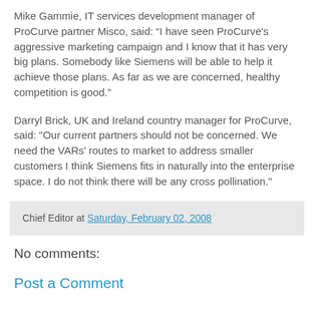Mike Gammie, IT services development manager of ProCurve partner Misco, said: “I have seen ProCurve's aggressive marketing campaign and I know that it has very big plans. Somebody like Siemens will be able to help it achieve those plans. As far as we are concerned, healthy competition is good.”
Darryl Brick, UK and Ireland country manager for ProCurve, said: "Our current partners should not be concerned. We need the VARs’ routes to market to address smaller customers I think Siemens fits in naturally into the enterprise space. I do not think there will be any cross pollination."
Chief Editor at Saturday, February 02, 2008
No comments:
Post a Comment